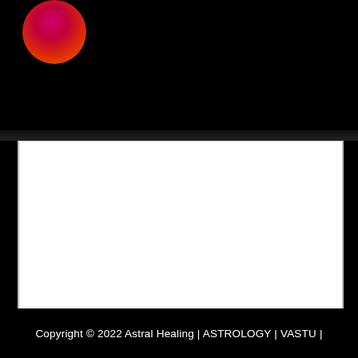[Figure (logo): Circular orb logo with radial gradient from pink/magenta at top to deep red and orange at bottom, on black background]
[Figure (other): Large white rectangular content area with dark border on black background]
Copyright © 2022 Astral Healing | ASTROLOGY | VASTU |